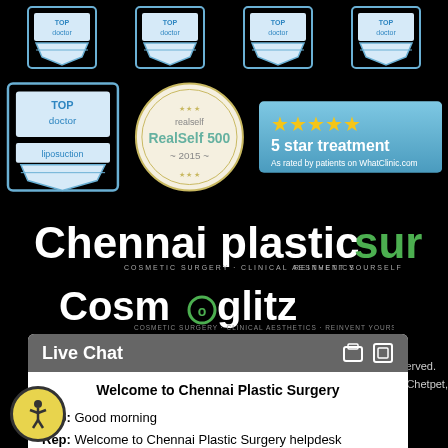[Figure (logo): Four small blue award/doctor badge icons in a row at the top]
[Figure (logo): Three badges: Top Doctor liposuction badge, RealSelf 500 2015 badge, and 5 star treatment WhatClinic.com badge]
[Figure (logo): Chennai Plastic Surgery logo with white and green text, cosmetic surgery clinical aesthetics reinvent yourself tagline]
[Figure (logo): Cosmoglitz logo with green and white text]
Reserved.
ane, Chetpet,
[Figure (screenshot): Live Chat widget showing: Welcome to Chennai Plastic Surgery, Rep: Good morning, Rep: Welcome to Chennai Plastic Surgery helpdesk, input box with click here to chat placeholder and Send button]